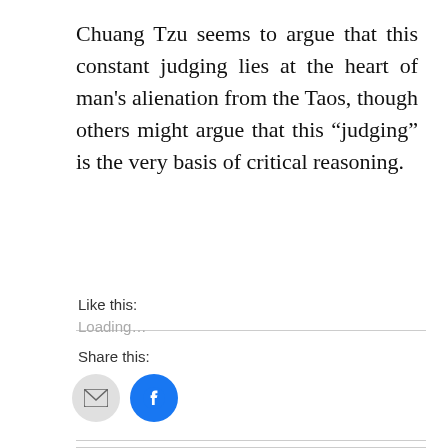Chuang Tzu seems to argue that this constant judging lies at the heart of man’s alienation from the Taos, though others might argue that this “judging” is the very basis of critical reasoning.
Share this:
[Figure (illustration): Email share button (grey circle with envelope icon) and Facebook share button (blue circle with Facebook logo)]
Like this:
Loading...